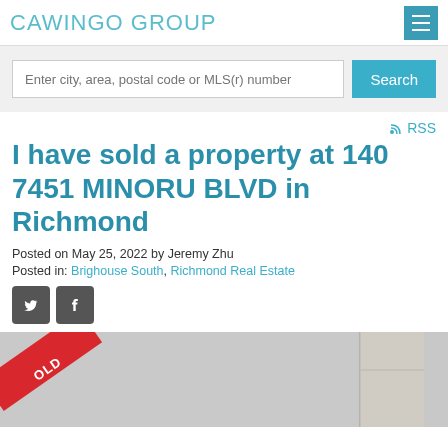CAWINGO GROUP
Enter city, area, postal code or MLS(r) number
Search
RSS
I have sold a property at 140 7451 MINORU BLVD in Richmond
Posted on May 25, 2022 by Jeremy Zhu
Posted in: Brighouse South, Richmond Real Estate
[Figure (photo): Interior room photo with SOLD ribbon overlay in red]